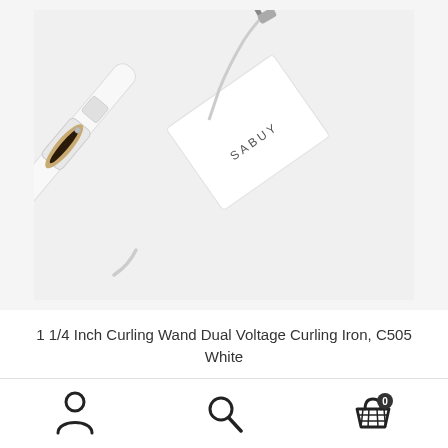[Figure (photo): White curling wand/iron (1 1/4 inch, dual voltage, model C505) with a gold/dark barrel detail and a white power plug, shown diagonally alongside its white box branded 'SABUY', on a light grey/white background.]
1 1/4 Inch Curling Wand Dual Voltage Curling Iron, C505 White
[Figure (infographic): Bottom navigation bar with three icons: a user/person silhouette icon on the left, a search/magnifying glass icon in the center, and a shopping basket/cart icon with a badge showing '0' on the right.]